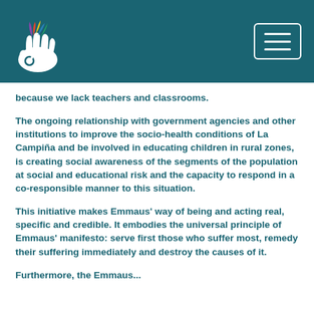[Figure (logo): Emmaus organization logo — white hand with colorful leaf/flame elements on teal background, with hamburger menu button in top right]
because we lack teachers and classrooms.
The ongoing relationship with government agencies and other institutions to improve the socio-health conditions of La Campiña and be involved in educating children in rural zones, is creating social awareness of the segments of the population at social and educational risk and the capacity to respond in a co-responsible manner to this situation.
This initiative makes Emmaus' way of being and acting real, specific and credible. It embodies the universal principle of Emmaus' manifesto: serve first those who suffer most, remedy their suffering immediately and destroy the causes of it.
Furthermore, the Emmaus...